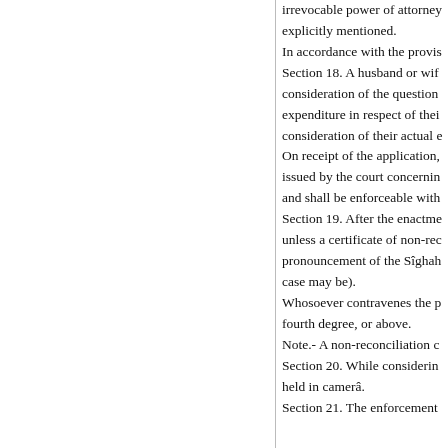irrevocable power of attorney explicitly mentioned. In accordance with the provis Section 18. A husband or wif consideration of the question expenditure in respect of thei consideration of their actual e On receipt of the application, issued by the court concernin and shall be enforceable with Section 19. After the enactme unless a certificate of non-rec pronouncement of the Sîghah case may be). Whosoever contravenes the p fourth degree, or above. Note.- A non-reconciliation c Section 20. While considerin held in camerâ. Section 21. The enforcement